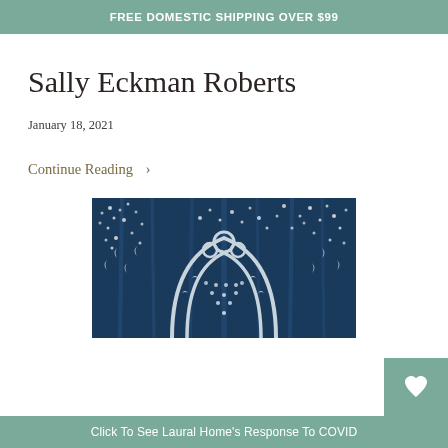FREE DOMESTIC SHIPPING OVER $99
Sally Eckman Roberts
January 18, 2021
Continue Reading >
[Figure (photo): Artwork showing a dark navy blue painting with white dotted patterns and arch/floral motifs with birds, resembling a decorative textile or fabric design.]
Click To See Laural Home's Response To COVID